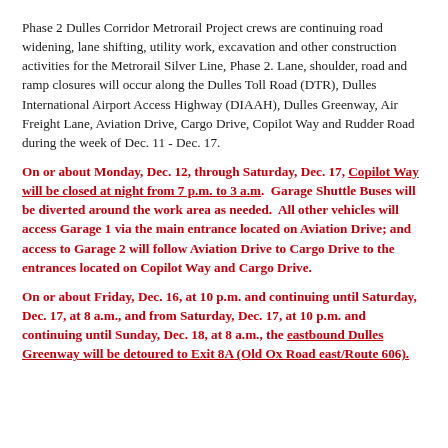Phase 2 Dulles Corridor Metrorail Project crews are continuing road widening, lane shifting, utility work, excavation and other construction activities for the Metrorail Silver Line, Phase 2. Lane, shoulder, road and ramp closures will occur along the Dulles Toll Road (DTR), Dulles International Airport Access Highway (DIAAH), Dulles Greenway, Air Freight Lane, Aviation Drive, Cargo Drive, Copilot Way and Rudder Road during the week of Dec. 11 - Dec. 17.
On or about Monday, Dec. 12, through Saturday, Dec. 17, Copilot Way will be closed at night from 7 p.m. to 3 a.m.  Garage Shuttle Buses will be diverted around the work area as needed.  All other vehicles will access Garage 1 via the main entrance located on Aviation Drive; and access to Garage 2 will follow Aviation Drive to Cargo Drive to the entrances located on Copilot Way and Cargo Drive.
On or about Friday, Dec. 16, at 10 p.m. and continuing until Saturday, Dec. 17, at 8 a.m., and from Saturday, Dec. 17, at 10 p.m. and continuing until Sunday, Dec. 18, at 8 a.m., the eastbound Dulles Greenway will be detoured to Exit 8A (Old Ox Road east/Route 606).